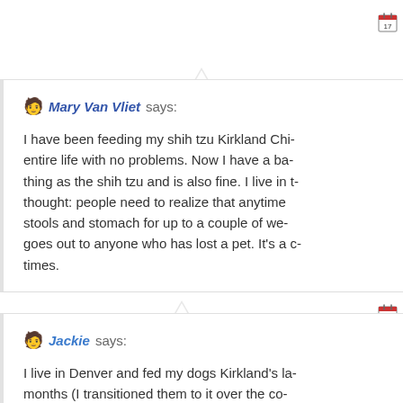Mary Van Vliet says: I have been feeding my shih tzu Kirkland Chi- entire life with no problems. Now I have a b- thing as the shih tzu and is also fine. I live in t- thought: people need to realize that anytime stools and stomach for up to a couple of we- goes out to anyone who has lost a pet. It's a c- times.
Jackie says: I live in Denver and fed my dogs Kirkland's la- months (I transitioned them to it over the co- stinky, very dark colored diarrhea on it and h-